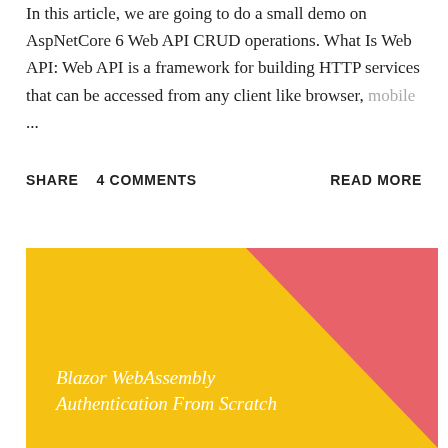In this article, we are going to do a small demo on AspNetCore 6 Web API CRUD operations. What Is Web API: Web API is a framework for building HTTP services that can be accessed from any client like browser, mobile ...
SHARE   4 COMMENTS   READ MORE
[Figure (illustration): Yellow and pink/coral diagonal background with white italic text reading 'Blazor WebAssembly Authentication From Scratch']